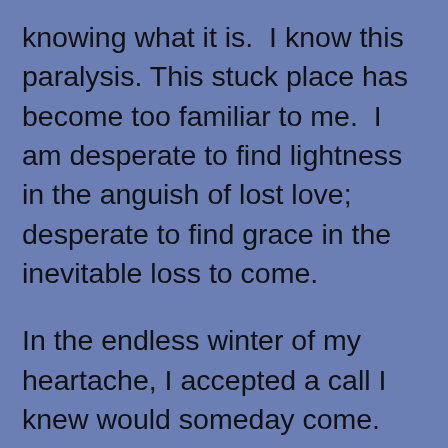knowing what it is.  I know this paralysis. This stuck place has become too familiar to me.  I am desperate to find lightness in the anguish of lost love; desperate to find grace in the inevitable loss to come.

In the endless winter of my heartache, I accepted a call I knew would someday come.  The weight of my shattered heart was crushing me when duty called to turn my attention from myself to my beloved bachelor uncle. Closing in on ninety